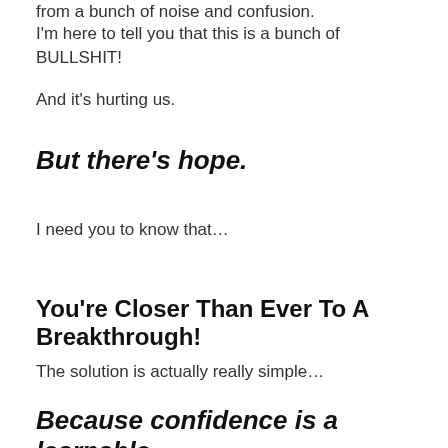from a bunch of noise and confusion.
I'm here to tell you that this is a bunch of BULLSHIT!
And it's hurting us.
But there's hope.
I need you to know that...
You're Closer Than Ever To A Breakthrough!
The solution is actually really simple…
Because confidence is a learnable SKILL that anyone can master...